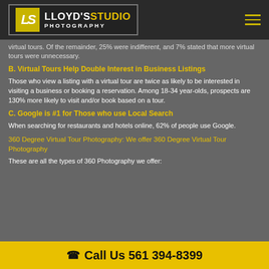Lloyd's Studio Photography
virtual tours. Of the remainder, 25% were indifferent, and 7% stated that more virtual tours were unnecessary.
B. Virtual Tours Help Double Interest in Business Listings
Those who view a listing with a virtual tour are twice as likely to be interested in visiting a business or booking a reservation. Among 18-34 year-olds, prospects are 130% more likely to visit and/or book based on a tour.
C. Google is #1 for Those who use Local Search
When searching for restaurants and hotels online, 62% of people use Google.
360 Degree Virtual Tour Photography: We offer 360 Degree Virtual Tour Photography
These are all the types of 360 Photography we offer:
Call Us 561 394-8399